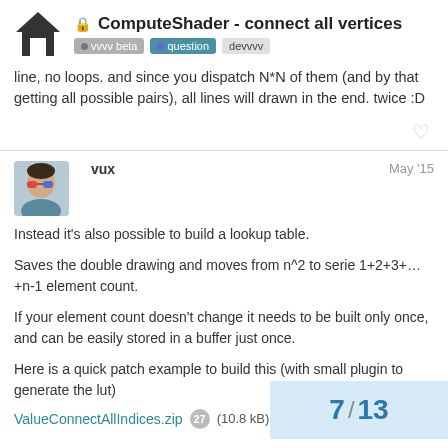🔒 ComputeShader - connect all vertices  vvvv beta  question  devvvv
line, no loops. and since you dispatch N*N of them (and by that getting all possible pairs), all lines will drawn in the end. twice :D
vux  May '15
Instead it's also possible to build a lookup table.
Saves the double drawing and moves from n^2 to serie 1+2+3+...+n-1 element count.
If your element count doesn't change it needs to be built only once, and can be easily stored in a buffer just once.
Here is a quick patch example to build this (with small plugin to generate the lut)
ValueConnectAllIndices.zip  27  (10.8 kB)
7 / 13